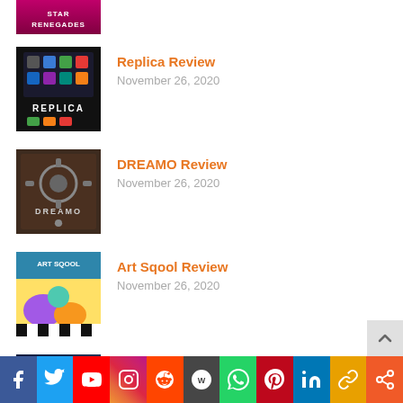[Figure (screenshot): Star Renegades game thumbnail (partial, cropped at top)]
[Figure (screenshot): Replica game cover with app icons on smartphone screen]
Replica Review
November 26, 2020
[Figure (screenshot): DREAMO game cover with mechanical/industrial art]
DREAMO Review
November 26, 2020
[Figure (screenshot): Art Sqool game cover with colorful characters]
Art Sqool Review
November 26, 2020
[Figure (screenshot): Micetopia game cover with anime-style mouse character]
Micetopia Review
November 24, 2020
[Figure (infographic): Social media sharing bar with Facebook, Twitter, YouTube, Instagram, Reddit, WordPress, WhatsApp, Pinterest, LinkedIn, link, and share icons]